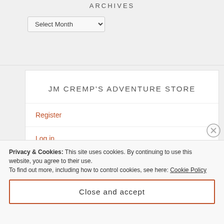ARCHIVES
Select Month
JM CREMP'S ADVENTURE STORE
Register
Log in
Entries feed
Privacy & Cookies: This site uses cookies. By continuing to use this website, you agree to their use. To find out more, including how to control cookies, see here: Cookie Policy
Close and accept